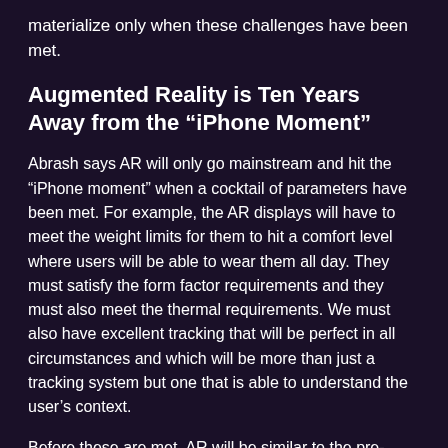materialize only when these challenges have been met.
Augmented Reality is Ten Years Away from the “iPhone Moment”
Abrash says AR will only go mainstream and hit the “iPhone moment” when a cocktail of parameters have been met. For example, the AR displays will have to meet the weight limits for them to hit a comfort level where users will be able to wear them all day. They must satisfy the form factor requirements and they must also meet the thermal requirements. We must also have excellent tracking that will be perfect in all circumstances and which will be more than just a tracking system but one that is able to understand the user’s context.
Before these are met, AR will be similar to the pre-iPhone phones that we had the Blackberry and PDA, but the